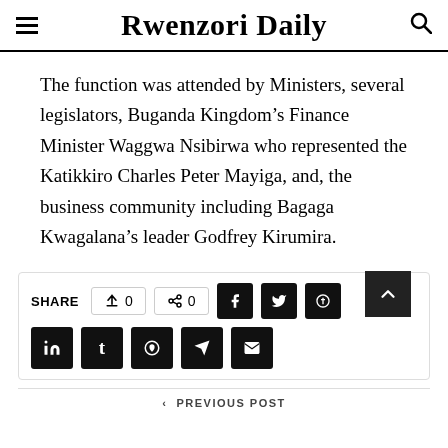Rwenzori Daily
The function was attended by Ministers, several legislators, Buganda Kingdom's Finance Minister Waggwa Nsibirwa who represented the Katikkiro Charles Peter Mayiga, and, the business community including Bagaga Kwagalana's leader Godfrey Kirumira.
SHARE 0 0 [social share buttons: Facebook, Twitter, Pinterest, LinkedIn, Tumblr, Reddit, Telegram, Email]
< PREVIOUS POST